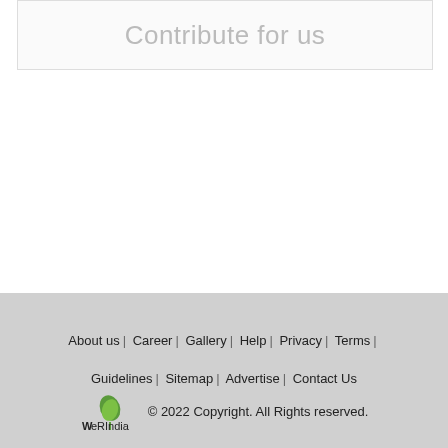Contribute for us
[Figure (illustration): Dark red circular scroll-to-top button with upward chevron arrow icon]
About us | Career | Gallery | Help | Privacy | Terms | Guidelines | Sitemap | Advertise | Contact Us
© 2022 Copyright. All Rights reserved.